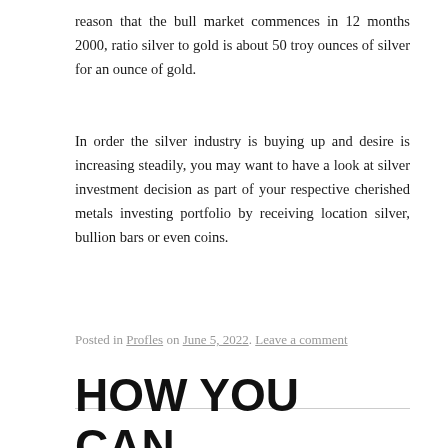reason that the bull market commences in 12 months 2000, ratio silver to gold is about 50 troy ounces of silver for an ounce of gold.
In order the silver industry is buying up and desire is increasing steadily, you may want to have a look at silver investment decision as part of your respective cherished metals investing portfolio by receiving location silver, bullion bars or even coins.
Posted in Profles on June 5, 2022. Leave a comment
HOW YOU CAN TAKE OUT HISTORY